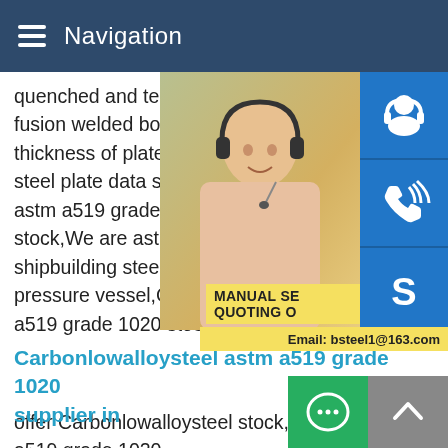Navigation
quenched and tempered alloy steel plates fusion welded boilers and other pressure vessels thickness of plate,ASTM A517 Low Alloy S steel plate data sheet,astm a519 grade 10 astm a519 grade 1020 supplier inoffer Ca stock,We are astm a519 grade 1020 supp shipbuilding steel plate,boiler steel,carbon pressure vessel,Gas cylinder steel,Weath a519 grade 1020 stock.
Carbonlowalloysteel astm a519 grade 1020 supplier in
offer Carbonlowalloysteel stock,We are astm a519 grade 1020 supplier in China,offer shipbuilding steel plate,boiler steel,carb low alloy steel,Boiler and pressure vessel,Gas cylinder steel,Weathering steel plate,astm a519 grade 1020